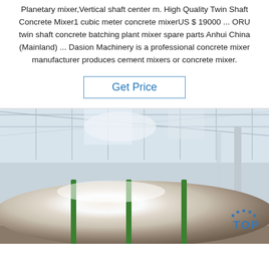Planetary mixer,Vertical shaft center m. High Quality Twin Shaft Concrete Mixer1 cubic meter concrete mixerUS $ 19000 ... ORU twin shaft concrete batching plant mixer spare parts Anhui China (Mainland) ... Dasion Machinery is a professional concrete mixer manufacturer produces cement mixers or concrete mixer.
Get Price
[Figure (photo): Industrial warehouse photo showing a large metallic roll/cylinder wrapped with green straps, stored inside a factory building with steel roof structure. TOP logo watermark visible in lower right.]